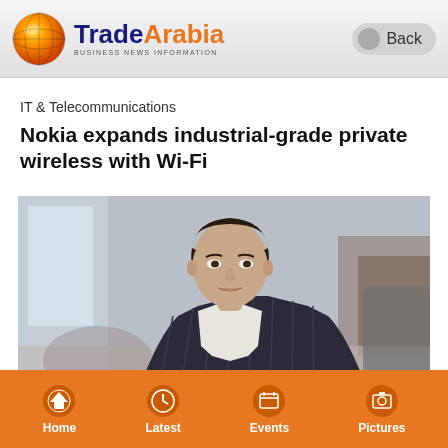TradeArabia BUSINESS NEWS INFORMATION
IT & Telecommunications
Nokia expands industrial-grade private wireless with Wi-Fi
[Figure (photo): A man in a dark pinstripe suit with white shirt, photographed from the torso up in an office or hotel lobby setting with soft blurred background furniture]
Home | Latest | Events | Pictures